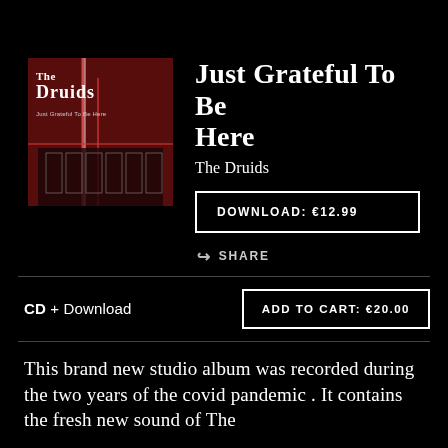[Figure (illustration): Album cover for 'Just Grateful To Be Here' by The Druids. Dark red/maroon background with band name 'The Druids' in white serif font at top left, and abstract architectural/lighting imagery with vertical streaks of light.]
Just Grateful To Be Here
The Druids
DOWNLOAD: €12.99
SHARE
CD + Download
ADD TO CART: €20.00
This brand new studio album was recorded during the two years of the covid pandemic . It contains the fresh new sound of The